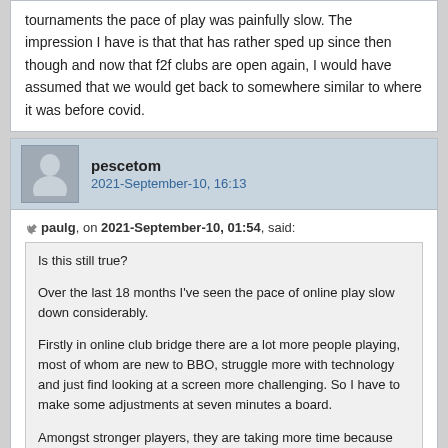tournaments the pace of play was painfully slow. The impression I have is that that has rather sped up since then though and now that f2f clubs are open again, I would have assumed that we would get back to somewhere similar to where it was before covid.
pescetom
2021-September-10, 16:13
paulg, on 2021-September-10, 01:54, said:
Is this still true?

Over the last 18 months I've seen the pace of online play slow down considerably.

Firstly in online club bridge there are a lot more people playing, most of whom are new to BBO, struggle more with technology and just find looking at a screen more challenging. So I have to make some adjustments at seven minutes a board.

Amongst stronger players, they are taking more time because they are taking online bridge more seriously, perhaps because more serious